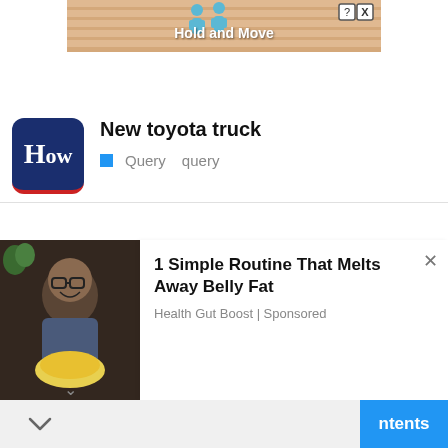[Figure (screenshot): Ad banner with peach/tan striped background, cartoon figures, 'Hold and Move' text, close and help icons]
New toyota truck
Query  query
[Figure (photo): Man with glasses smiling, holding a plate of food, dark background]
1 Simple Routine That Melts Away Belly Fat
Health Gut Boost | Sponsored
ntents